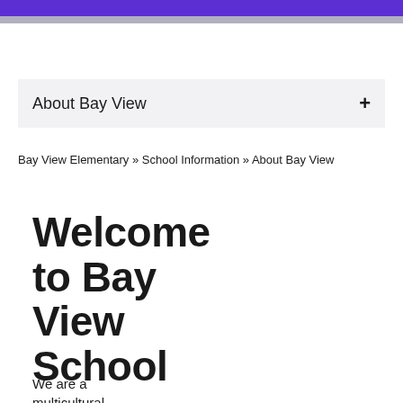About Bay View
Bay View Elementary » School Information » About Bay View
Welcome to Bay View School
We are a multicultural,